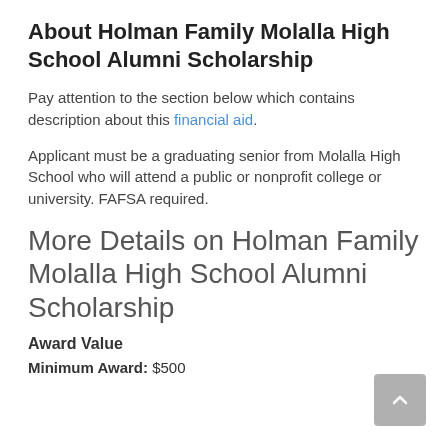About Holman Family Molalla High School Alumni Scholarship
Pay attention to the section below which contains description about this financial aid.
Applicant must be a graduating senior from Molalla High School who will attend a public or nonprofit college or university. FAFSA required.
More Details on Holman Family Molalla High School Alumni Scholarship
Award Value
Minimum Award: $500